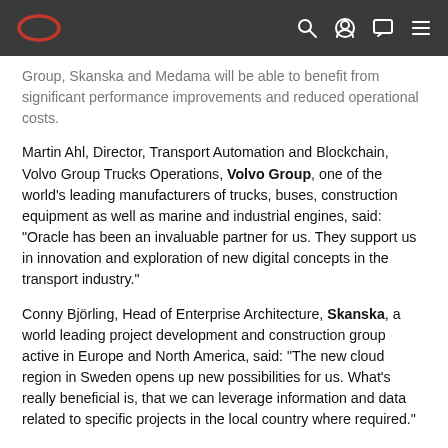Oracle navigation bar with logo and icons
Group, Skanska and Medama will be able to benefit from significant performance improvements and reduced operational costs.
Martin Ahl, Director, Transport Automation and Blockchain, Volvo Group Trucks Operations, Volvo Group, one of the world's leading manufacturers of trucks, buses, construction equipment as well as marine and industrial engines, said: “Oracle has been an invaluable partner for us. They support us in innovation and exploration of new digital concepts in the transport industry.”
Conny Björling, Head of Enterprise Architecture, Skanska, a world leading project development and construction group active in Europe and North America, said: “The new cloud region in Sweden opens up new possibilities for us. What's really beneficial is, that we can leverage information and data related to specific projects in the local country where required.”